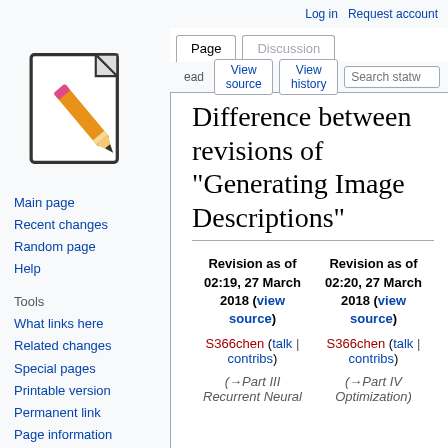Log in   Request account
[Figure (illustration): Wikipedia-style logo: a document page with a pencil drawn over it]
Main page
Recent changes
Random page
Help
Tools
What links here
Related changes
Special pages
Printable version
Permanent link
Page information
Difference between revisions of "Generating Image Descriptions"
| Revision as of 02:19, 27 March 2018 (view source) | Revision as of 02:20, 27 March 2018 (view source) |
| --- | --- |
| S366chen (talk | contribs) | S366chen (talk | contribs) |
| (→Part III Recurrent Neural | (→Part IV Optimization) |